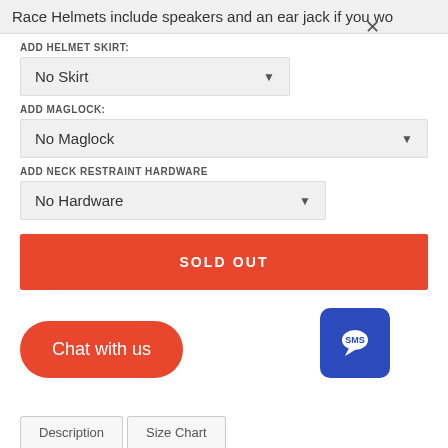Race Helmets include speakers and an ear jack if you wo
ADD HELMET SKIRT:
No Skirt
ADD MAGLOCK:
No Maglock
ADD NECK RESTRAINT HARDWARE
No Hardware
SOLD OUT
Chat with us
[Figure (screenshot): SMS chat button icon - blue rounded square with speech bubble SMS icon]
×
Description   Size Chart